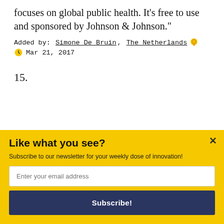focuses on global public health. It’s free to use and sponsored by Johnson & Johnson.”
Added by: Simone De Bruin, The Netherlands  Mar 21, 2017
15.
[Figure (screenshot): Dark teal/navy banner image showing 'Techstars Mobility Demo Day 2015' title with a 'Powered by Sumo' badge overlay]
Like what you see?
Subscribe to our newsletter for your weekly dose of innovation!
Enter your email address
Subscribe!